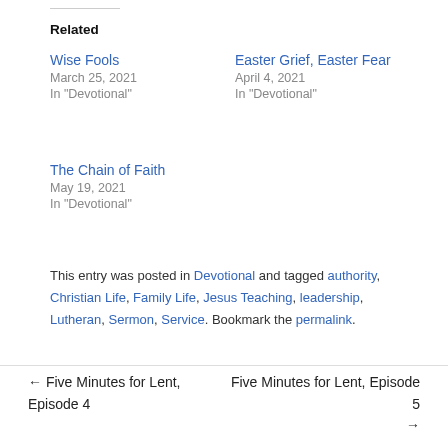Related
Wise Fools
March 25, 2021
In "Devotional"
Easter Grief, Easter Fear
April 4, 2021
In "Devotional"
The Chain of Faith
May 19, 2021
In "Devotional"
This entry was posted in Devotional and tagged authority, Christian Life, Family Life, Jesus Teaching, leadership, Lutheran, Sermon, Service. Bookmark the permalink.
← Five Minutes for Lent, Episode 4
Five Minutes for Lent, Episode 5 →